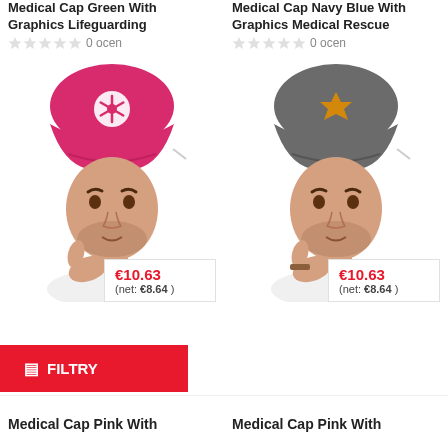Medical Cap Green With Graphics Lifeguarding
0 ocen
[Figure (photo): Man wearing pink/magenta medical cap with white star-of-life graphic]
€10.63 (net: €8.64)
Medical Cap Navy Blue With Graphics Medical Rescue
0 ocen
[Figure (photo): Man wearing gray medical cap with orange star-of-life graphic]
€10.63 (net: €8.64)
FILTRY
Medical Cap Pink With
Medical Cap Pink With